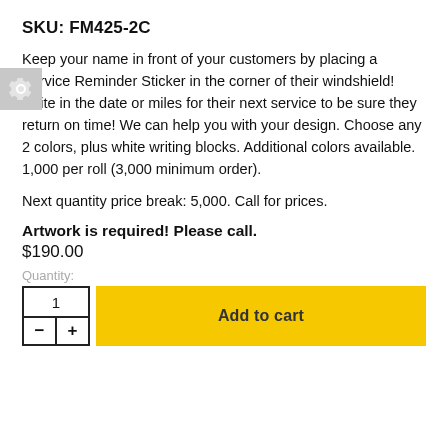SKU: FM425-2C
Keep your name in front of your customers by placing a Service Reminder Sticker in the corner of their windshield! Write in the date or miles for their next service to be sure they return on time! We can help you with your design. Choose any 2 colors, plus white writing blocks. Additional colors available. 1,000 per roll (3,000 minimum order).
Next quantity price break: 5,000. Call for prices.
Artwork is required! Please call.
$190.00
Quantity:
1
Add to cart